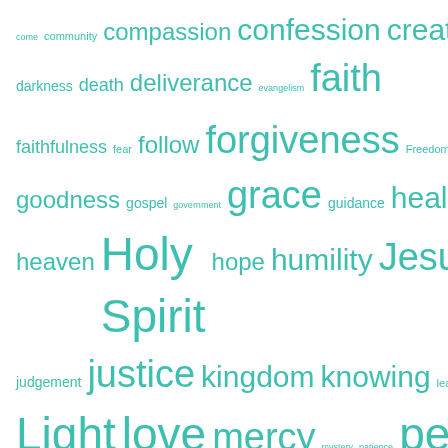[Figure (infographic): Word cloud with theological/religious terms in teal/turquoise color, various font sizes indicating frequency/importance. Words include: come, community, compassion, confession, creation, darkness, death, deliverance, evangelism, faith, faithfulness, fear, follow, forgiveness, Freedom, glory, goodness, gospel, government, grace, guidance, healing, heaven, Holy Spirit, hope, humility, Jesus, joy, judgement, justice, kingdom, knowing, leaders, Lent, life, Light, love, mercy, mystery, patience, peace, poor, praise, prayer, presence, promise, protection, reconcile, renew, repentance, rest, resurrection, sacrifice, salvation, seek, service, shepherd, sin, soul, suffering, thanksgiving, Trinity, trust, truth, Unity, wisdom, Word, work, worship]